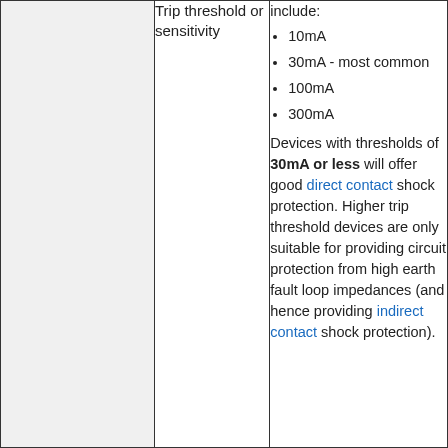10mA
30mA - most common
100mA
300mA
Trip threshold or sensitivity
Devices with thresholds of 30mA or less will offer good direct contact shock protection. Higher trip threshold devices are only suitable for providing circuit protection from high earth fault loop impedances (and hence providing indirect contact shock protection).